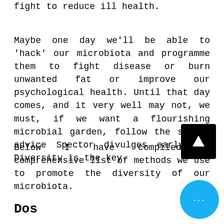fight to reduce ill health.
Maybe one day we'll be able to 'hack' our microbiota and programme them to fight disease or burn unwanted fat or improve our psychological health. Until that day comes, and it very well may not, we must, if we want a flourishing microbial garden, follow the simple advice Spector divulges early on. Diversity is the key.
Below I have compiled a comprehensive list of methods we use to promote the diversity of our microbiota.
Dos